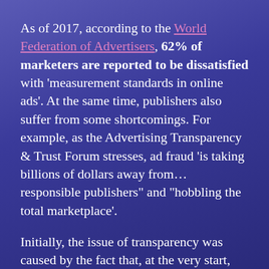As of 2017, according to the World Federation of Advertisers, 62% of marketers are reported to be dissatisfied with 'measurement standards in online ads'. At the same time, publishers also suffer from some shortcomings. For example, as the Advertising Transparency & Trust Forum stresses, ad fraud 'is taking billions of dollars away from... responsible publishers" and "hobbling the total marketplace'.
Initially, the issue of transparency was caused by the fact that, at the very start,